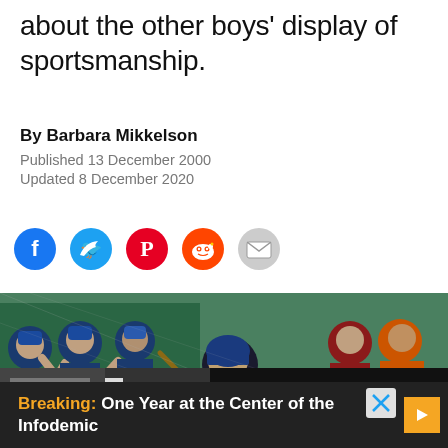about the other boys' display of sportsmanship.
By Barbara Mikkelson
Published 13 December 2000
Updated 8 December 2020
[Figure (photo): Row of baseball players in blue uniforms clapping and cheering, with a batter in dark uniform and helmet in the foreground, chain-link fence background]
[Figure (screenshot): Video promo card on black background: thumbnail of black-and-white vintage barbershop scene with play button, text reads 'Is It No Longer Illegal for Barbershops to Cut Hair on Sundays in New York?']
Breaking: One Year at the Center of the Infodemic